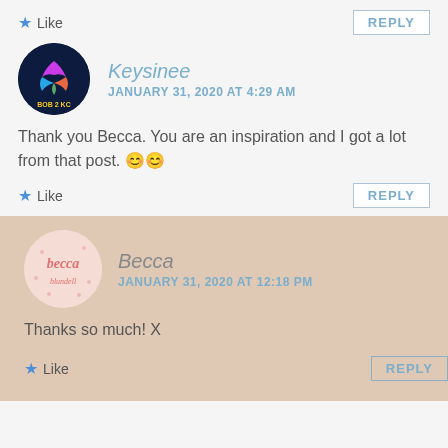Like   REPLY
[Figure (photo): Circular avatar with dark navy background showing colorful abstract bird/flame logo with text BOB 2 KC]
Keysinee
JANUARY 31, 2020 AT 4:29 AM
Thank you Becca. You are an inspiration and I got a lot from that post. 😊😊
Like   REPLY
[Figure (photo): Circular avatar with pink background showing handwritten becca blundell text logo]
Becca
JANUARY 31, 2020 AT 12:18 PM
Thanks so much! X
Like   REPLY